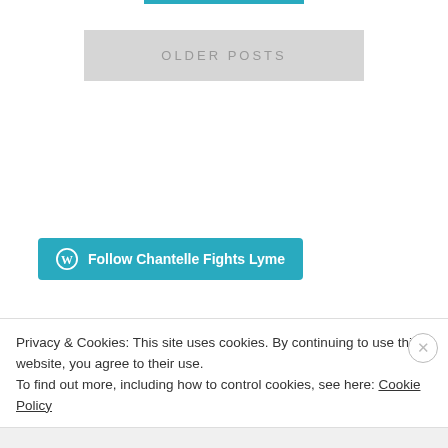OLDER POSTS
[Figure (other): WordPress Follow button: 'Follow Chantelle Fights Lyme' in teal with WordPress logo]
FOLLOW BLOG VIA EMAIL
Privacy & Cookies: This site uses cookies. By continuing to use this website, you agree to their use. To find out more, including how to control cookies, see here: Cookie Policy
Close and accept